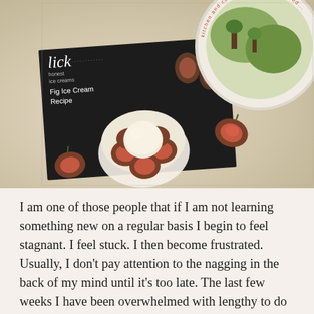[Figure (photo): Photo of a Lick Honest Ice Creams Fig Ice Cream Recipe card (black card) with a white bowl containing a scoop of ice cream surrounded by sliced figs, placed on a light wooden surface. A circular container lid with text is visible in the top right.]
I am one of those people that if I am not learning something new on a regular basis I begin to feel stagnant.  I feel stuck.  I then become frustrated.  Usually, I don't pay attention to the nagging in the back of my mind until it's too late.  The last few weeks I have been overwhelmed with lengthy to do lists, custom orders, and planning some big